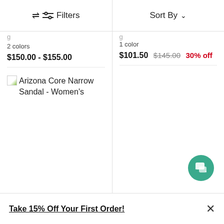Filters  Sort By
2 colors
$150.00 - $155.00
1 color
$101.50 $145.00 30% off
[Figure (screenshot): Broken image placeholder for Arizona Core Narrow Sandal - Women's product]
Arizona Core Narrow Sandal - Women's
[Figure (illustration): Green circular chat/support button with speech bubble icon]
Take 15% Off Your First Order!